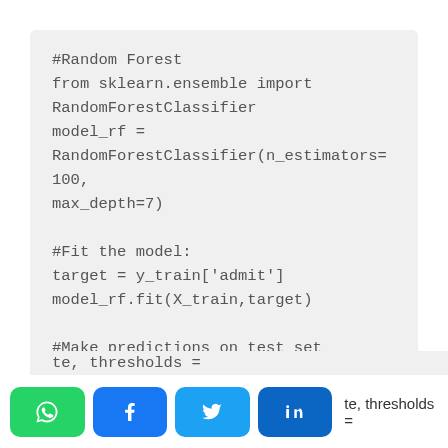#Random Forest
from sklearn.ensemble import RandomForestClassifier
model_rf = RandomForestClassifier(n_estimators=100, max_depth=7)

#Fit the model:
target = y_train['admit']
model_rf.fit(X_train,target)

#Make predictions on test set
predictions_rf = model_rf.predict_proba(X_test)

#AUC
...te, thresholds =